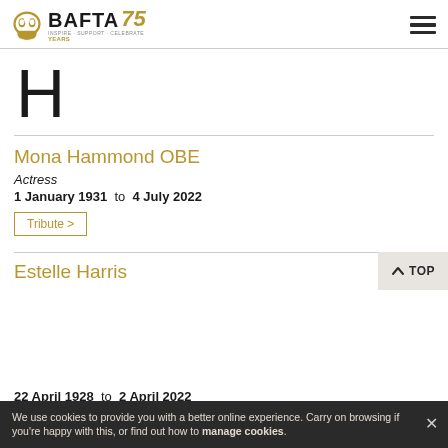BAFTA 75 — INSPIRE. SUPPORT. CELEBRATE. YEARS
H
Mona Hammond OBE
Actress
1 January 1931 to 4 July 2022
Tribute >
Estelle Harris
22 April 1928 to 2 April 2022
We use cookies to provide you with a better online experience. Carry on browsing if you're happy with this, or find out how to manage cookies.